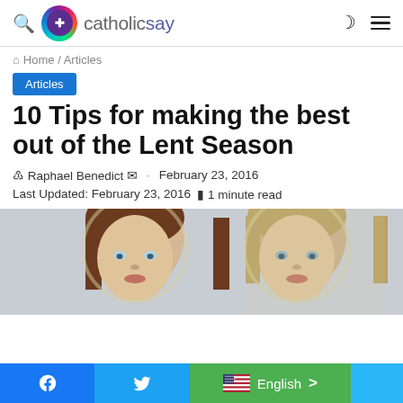catholicsay
Home / Articles
Articles
10 Tips for making the best out of the Lent Season
Raphael Benedict · February 23, 2016
Last Updated: February 23, 2016  1 minute read
[Figure (photo): Two religious paintings of women with halos on a light grey background]
Facebook  Twitter  English  >